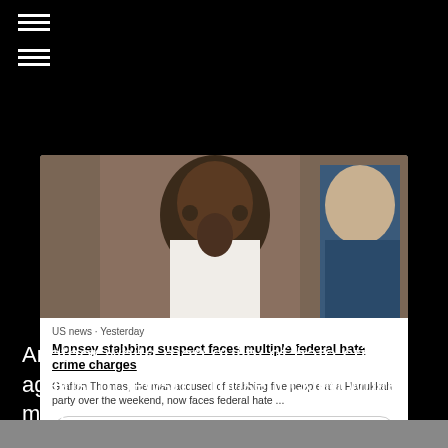[Figure (screenshot): Screenshot of a news article card showing a photo of a man in a white shirt with a beard being escorted by a police officer. The card shows: 'US news · Yesterday' and headline 'Monsey stabbing suspect faces multiple federal hate crime charges' with snippet 'Grafton Thomas, the man accused of stabbing five people at a Hanukkah party over the weekend, now faces federal hate ...' and a 'Go to Moment' button.]
Another white man guilty of hate crimes against (((Jews))). Those fucking white men.